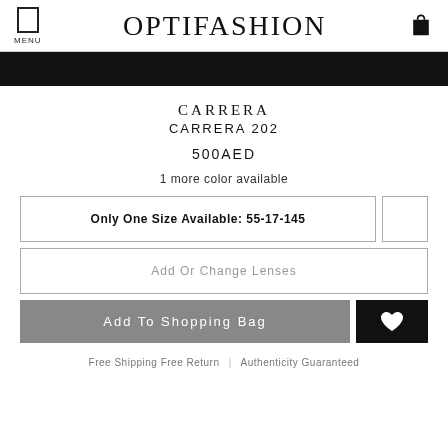OPTIFASHION
CARRERA
CARRERA 202
500AED
1 more color available
Only One Size Available: 55-17-145
Add Or Change Lenses
Add To Shopping Bag
Free Shipping Free Return | Authenticity Guaranteed